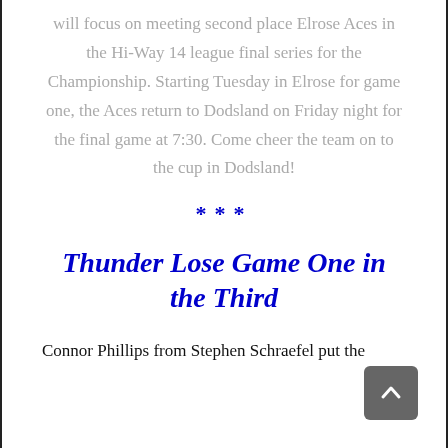will focus on meeting second place Elrose Aces in the Hi-Way 14 league final series for the Championship. Starting Tuesday in Elrose for game one, the Aces return to Dodsland on Friday night for the final game at 7:30. Come cheer the team on to the cup in Dodsland!
***
Thunder Lose Game One in the Third
Connor Phillips from Stephen Schraefel put the